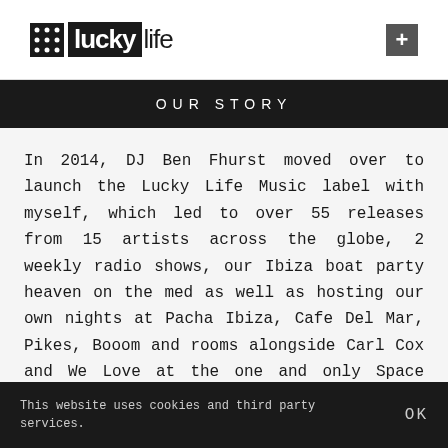[Figure (logo): Lucky Life logo with dotted grid icon followed by 'lucky' in white-on-black box and 'life' in plain text, plus a dark square with plus sign on the right]
OUR STORY
In 2014, DJ Ben Fhurst moved over to launch the Lucky Life Music label with myself, which led to over 55 releases from 15 artists across the globe, 2 weekly radio shows, our Ibiza boat party heaven on the med as well as hosting our own nights at Pacha Ibiza, Cafe Del Mar, Pikes, Booom and rooms alongside Carl Cox and We Love at the one and only Space Ibiza. The Lucky dice as rolling…
This website uses cookies and third party services.  OK